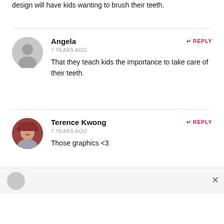design will have kids wanting to brush their teeth.
Angela
7 YEARS AGO
That they teach kids the importance to take care of their teeth.
Terence Kwong
7 YEARS AGO
Those graphics <3